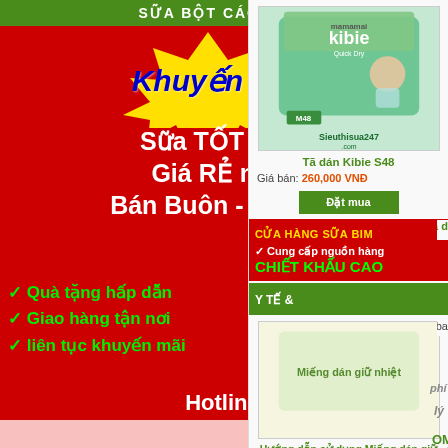[Figure (advertisement): Vietnamese baby products promotional banner for Sieuthisua247.com with red background, yellow starburst, promotional text, hotline numbers]
SUA BOT CAC LOAI
Khuyến mại
Sữa TỐT nhất
Giá RẺ nhất
Bán Buôn - Bán Lẻ
✓ Quà tặng hấp dẫn
✓ Giao hàng tận nơi
✓ liên tục khuyến mãi
Hotline
0973.814.628
0973.814.735
SIEUTHISUA247.COM
[Figure (photo): Tã dán Kibie S48 product image with green packaging and baby photo, branded Sieuthisua247.com]
Tã dán Kibie S48
Giá bán: 260,000 VNĐ
Đặt mua
CỬA HÀNG SỮA BIM
✓ Cung cấp nguồn hàng
CHIẾT KHẤU CAO
Y TẾ &
Hướng dẫn sử dụng Miếng dán giữ nhiệt
Giá bán: 10,000 VNĐ
Tã d
Giá ba